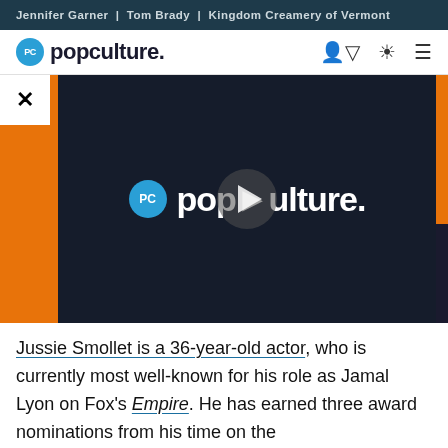Jennifer Garner | Tom Brady | Kingdom Creamery of Vermont
[Figure (logo): PopCulture.com logo with PC circle icon, navigation icons]
[Figure (screenshot): Video player showing PopCulture logo with play button overlay, flanked by orange advertisement banners, with X close button]
Jussie Smollet is a 36-year-old actor, who is currently most well-known for his role as Jamal Lyon on Fox's Empire. He has earned three award nominations from his time on the